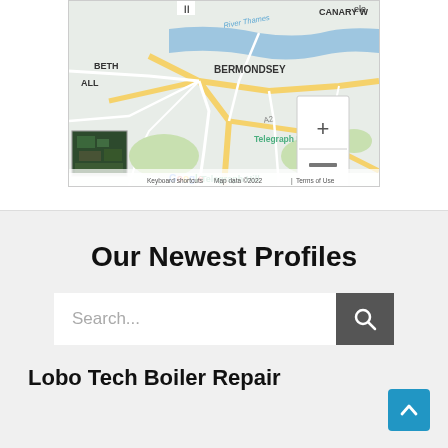[Figure (map): Google Maps screenshot showing area around Bermondsey, Beth(nal Green), Canary Wharf area, Telegraph Hill, River Thames, A2 road. Map data ©2022. Includes zoom controls (+/-) and a satellite thumbnail. Footer reads: Keyboard shortcuts | Map data ©2022 | Terms of Use]
Our Newest Profiles
Search...
Lobo Tech Boiler Repair